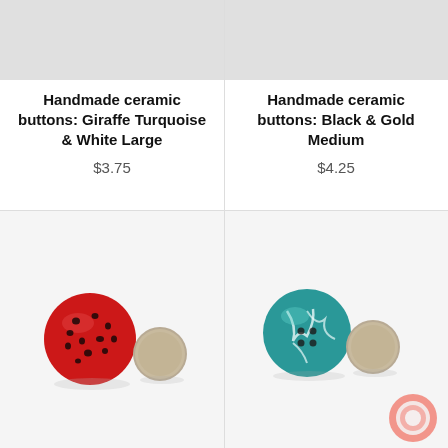[Figure (photo): Top portion of a product listing photo for Giraffe Turquoise & White Large ceramic buttons (cropped, light grey background)]
Handmade ceramic buttons: Giraffe Turquoise & White Large
$3.75
[Figure (photo): Top portion of a product listing photo for Black & Gold Medium ceramic buttons (cropped, light grey background)]
Handmade ceramic buttons: Black & Gold Medium
$4.25
[Figure (photo): Red ceramic button with black dots next to a coin for size reference, on white background]
[Figure (photo): Teal/turquoise ceramic button with white crackle pattern next to a coin for size reference, on white background, with a pink chat bubble icon in the bottom right corner]